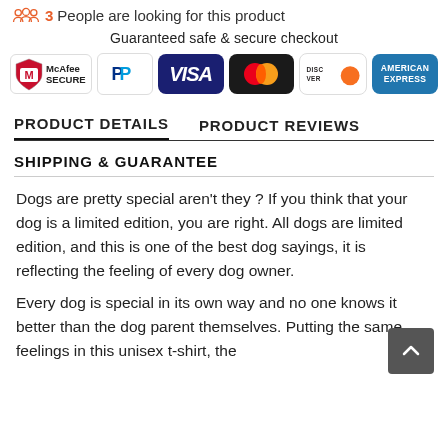3 People are looking for this product
Guaranteed safe & secure checkout
[Figure (logo): Payment method logos: McAfee SECURE, PayPal, VISA, Mastercard, Discover, American Express]
PRODUCT DETAILS
PRODUCT REVIEWS
SHIPPING & GUARANTEE
Dogs are pretty special aren't they ? If you think that your dog is a limited edition, you are right. All dogs are limited edition, and this is one of the best dog sayings, it is reflecting the feeling of every dog owner.
Every dog is special in its own way and no one knows it better than the dog parent themselves. Putting the same feelings in this unisex t-shirt, the